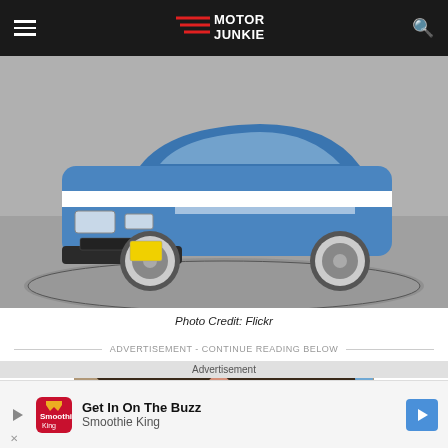MOTOR JUNKIE
[Figure (photo): Blue and white Dodge Charger/Daytona classic car on a circular display platform in an indoor showroom]
Photo Credit: Flickr
ADVERTISEMENT - CONTINUE READING BELOW
[Figure (photo): Advertisement banner showing a person's face with curly hair and text 'Eyewear for...']
Advertisement
[Figure (infographic): Smoothie King advertisement: Get In On The Buzz - Smoothie King]